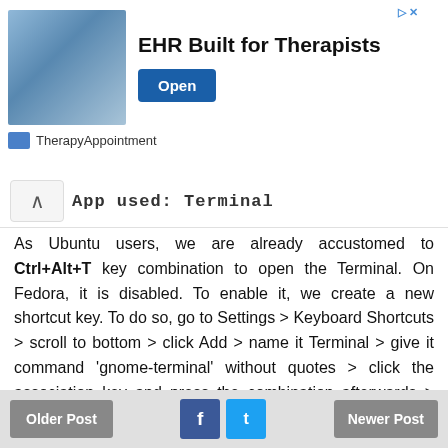[Figure (screenshot): Advertisement banner for TherapyAppointment EHR Built for Therapists with Open button]
App used: Terminal
As Ubuntu users, we are already accustomed to Ctrl+Alt+T key combination to open the Terminal. On Fedora, it is disabled. To enable it, we create a new shortcut key. To do so, go to Settings > Keyboard Shortcuts > scroll to bottom > click Add > name it Terminal > give it command 'gnome-terminal' without quotes > click the association key and press the combination afterwards > OK. Now test it.
Older Post   f   t   Newer Post